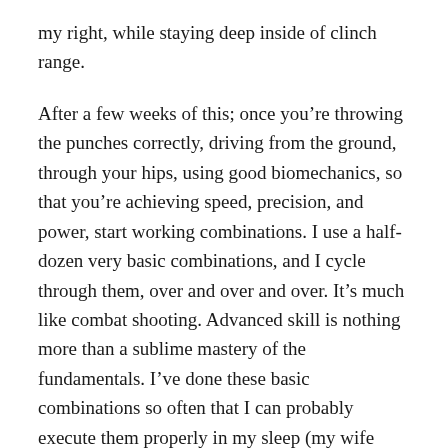my right, while staying deep inside of clinch range.
After a few weeks of this; once you’re throwing the punches correctly, driving from the ground, through your hips, using good biomechanics, so that you’re achieving speed, precision, and power, start working combinations. I use a half-dozen very basic combinations, and I cycle through them, over and over and over. It’s much like combat shooting. Advanced skill is nothing more than a sublime mastery of the fundamentals. I’ve done these basic combinations so often that I can probably execute them properly in my sleep (my wife likes to claim that I DO throw them in my sleep…).
The most basic of course, is the “ol’ one-two.” Every